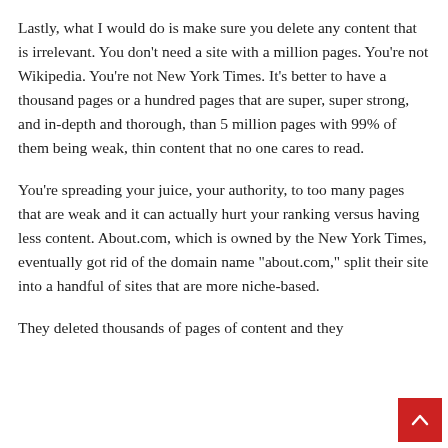Lastly, what I would do is make sure you delete any content that is irrelevant. You don't need a site with a million pages. You're not Wikipedia. You're not New York Times. It's better to have a thousand pages or a hundred pages that are super, super strong, and in-depth and thorough, than 5 million pages with 99% of them being weak, thin content that no one cares to read.
You're spreading your juice, your authority, to too many pages that are weak and it can actually hurt your ranking versus having less content. About.com, which is owned by the New York Times, eventually got rid of the domain name "about.com," split their site into a handful of sites that are more niche-based.
They deleted thousands of pages of content and they